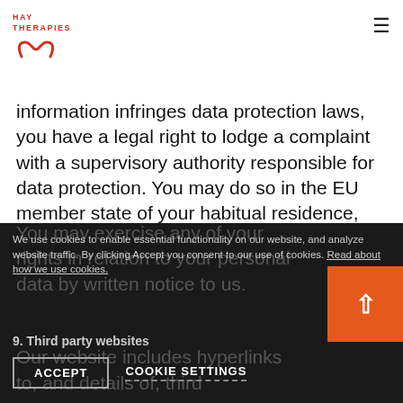HAY THERAPIES
information infringes data protection laws, you have a legal right to lodge a complaint with a supervisory authority responsible for data protection. You may do so in the EU member state of your habitual residence, your place of work or the place of the alleged infringement.
To the extent that the legal basis for our processing of your personal information is consent, you have the right to withdraw that consent at any time. Withdrawal will not affect the lawfulness of processing before the withdrawal.
You may exercise any of your rights in relation to your personal data by written notice to us.
We use cookies to enable essential functionality on our website, and analyze website traffic. By clicking Accept you consent to our use of cookies. Read about how we use cookies.
9. Third party websites
Our website includes hyperlinks to, and details of, third